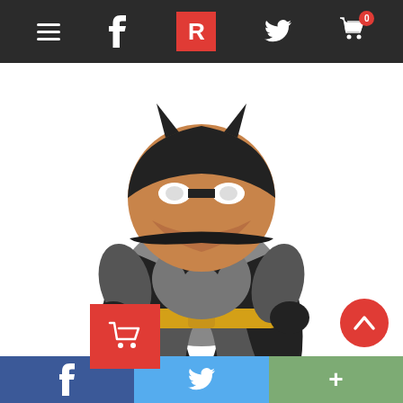Navigation bar with hamburger, Facebook, Reddit R, Twitter, and Cart icons
[Figure (photo): Batman Pop! Funko bobblehead figure - chibi-style Batman toy in grey and black costume with yellow belt and black cape, sitting pose with large round head and small mask]
[Figure (infographic): Red square add-to-cart button with shopping cart icon]
Batman Pop! – DC Batman Bobblehead Figure
(MOVIE COLLECTIBLES, FIGURINES)
★★★★½ rating
$10.99 $9.61
Social sharing bar: Facebook, Twitter, More (+)